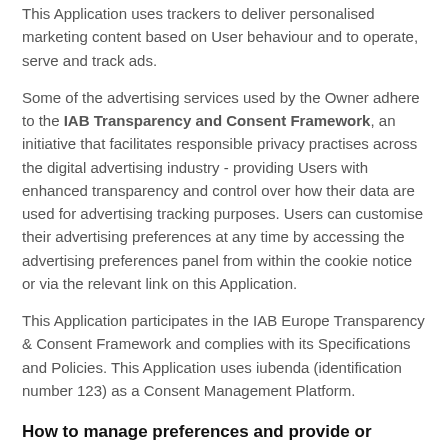This Application uses trackers to deliver personalised marketing content based on User behaviour and to operate, serve and track ads.
Some of the advertising services used by the Owner adhere to the IAB Transparency and Consent Framework, an initiative that facilitates responsible privacy practises across the digital advertising industry - providing Users with enhanced transparency and control over how their data are used for advertising tracking purposes. Users can customise their advertising preferences at any time by accessing the advertising preferences panel from within the cookie notice or via the relevant link on this Application.
This Application participates in the IAB Europe Transparency & Consent Framework and complies with its Specifications and Policies. This Application uses iubenda (identification number 123) as a Consent Management Platform.
How to manage preferences and provide or withdraw consent